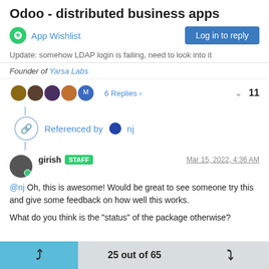Odoo - distributed business apps
App Wishlist | Log in to reply
Update: somehow LDAP login is failing, need to look into it
Founder of Yarsa Labs
6 Replies >  ^ 11
Referenced by nj
girish STAFF  Mar 15, 2022, 4:36 AM
@nj Oh, this is awesome! Would be great to see someone try this and give some feedback on how well this works.

What do you think is the "status" of the package otherwise?
25 out of 65